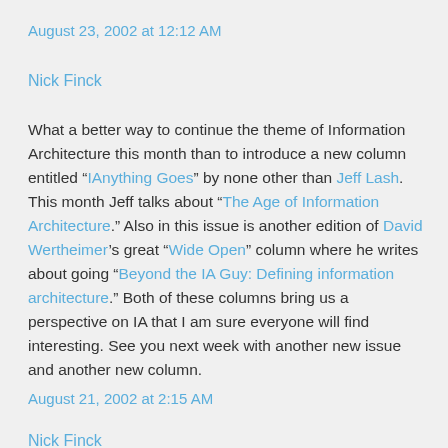August 23, 2002 at 12:12 AM
Nick Finck
What a better way to continue the theme of Information Architecture this month than to introduce a new column entitled “IAnything Goes” by none other than Jeff Lash. This month Jeff talks about “The Age of Information Architecture.” Also in this issue is another edition of David Wertheimer’s great “Wide Open” column where he writes about going “Beyond the IA Guy: Defining information architecture.” Both of these columns bring us a perspective on IA that I am sure everyone will find interesting. See you next week with another new issue and another new column.
August 21, 2002 at 2:15 AM
Nick Finck